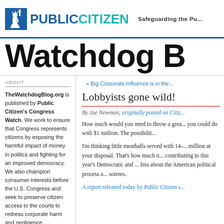[Figure (logo): Public Citizen logo with Statue of Liberty icon, text PUBLIC CITIZEN in blue and teal]
Safeguarding the Pu...
Watchdog B...
« Big Corporate Influence is in the...
ABOUT
TheWatchdogBlog.org is published by Public Citizen's Congress Watch. We work to ensure that Congress represents citizens by exposing the harmful impact of money in politics and fighting for an improved democracy. We also champion consumer interests before the U.S. Congress and seek to preserve citizen access to the courts to redress corporate harm and negligence.
Lobbyists gone wild!
By Joe Newman, originally posted on Citiz...
How much would you need to throw a grea... you could do with $1 miilion. The possibilit...
I'm thinking little meatballs served with 14-... million at your disposal. That's how much n... contributing to this year's Democratic and ... less about the American political process a... soirees.
A report released today by Public Citizen s...